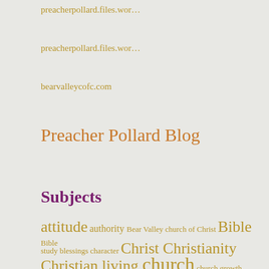preacherpollard.files.wor...
preacherpollard.files.wor...
bearvalleycofc.com
Preacher Pollard Blog
Subjects
attitude authority Bear Valley church of Christ Bible Bible study blessings character Christ Christianity
Christian living church church growth courage